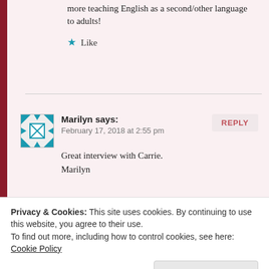more teaching English as a second/other language to adults!
★ Like
REPLY
Marilyn says:
February 17, 2018 at 2:55 pm
Great interview with Carrie.
Marilyn
★ Liked by 1 person
Privacy & Cookies: This site uses cookies. By continuing to use this website, you agree to their use.
To find out more, including how to control cookies, see here: Cookie Policy
Close and accept